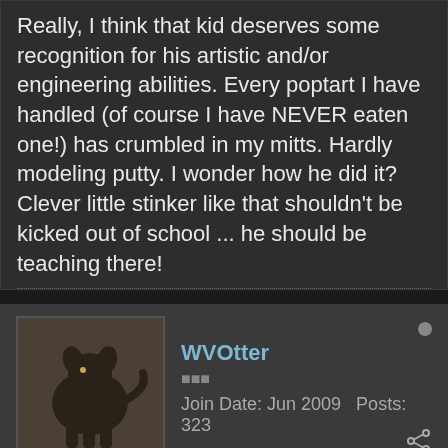Really, I think that kid deserves some recognition for his artistic and/or engineering abilities. Every poptart I have handled (of course I have NEVER eaten one!) has crumbled in my mitts. Hardly modeling putty. I wonder how he did it? Clever little stinker like that shouldn't be kicked out of school ... he should be teaching there!
WVOtter
Join Date: Jun 2009  Posts: 323
03-05-2013, 10:02 AM  #8
Anyone who is familiar with MD and O'Malley wouldn't be surprised by this. Within days of each other he passed his fingerprint for handgun purchase, "assault rifle"/HC magazine